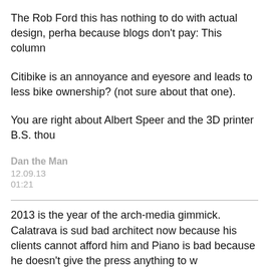The Rob Ford this has nothing to do with actual design, perhaps because blogs don't pay: This column
Citibike is an annoyance and eyesore and leads to less bike ownership? (not sure about that one).
You are right about Albert Speer and the 3D printer B.S. though
Dan the Man
12.09.13
01:21
2013 is the year of the arch-media gimmick. Calatrava is suddenly a bad architect now because his clients cannot afford him and Piano is bad because he doesn't give the press anything to write about. Piano is building really well still but